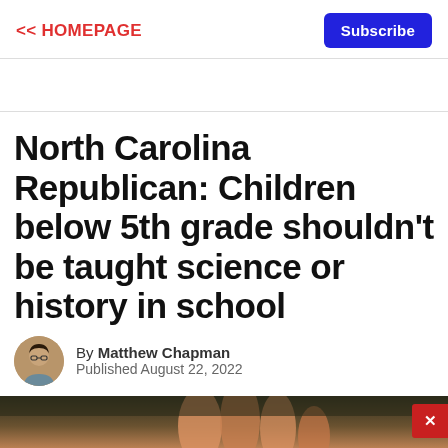<< HOMEPAGE
Subscribe
North Carolina Republican: Children below 5th grade shouldn't be taught science or history in school
By Matthew Chapman
Published August 22, 2022
[Figure (photo): Close-up photo of a person's fingers held up, blurred background with dark green foliage]
[Figure (infographic): Advertisement banner: play button icon, black circle logo with infinity symbol, checkmark with 'In-store shopping' text, blue diamond arrow button]